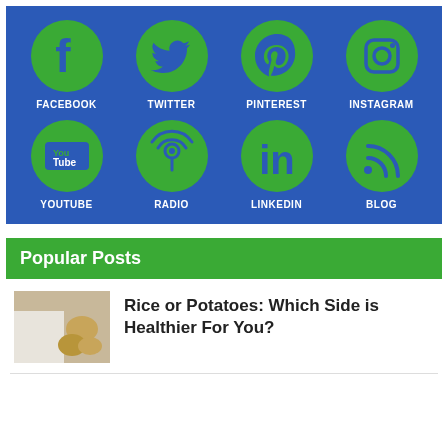[Figure (infographic): Social media icons grid on blue background: Facebook, Twitter, Pinterest, Instagram (top row); YouTube, Radio, LinkedIn, Blog (bottom row). Each is a green circle with white icon and white label below.]
Popular Posts
Rice or Potatoes: Which Side is Healthier For You?